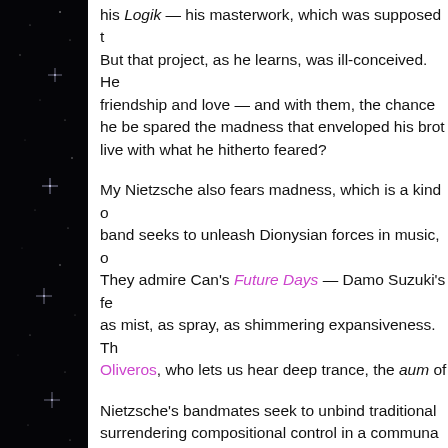[Figure (photo): Dark starfield / night sky background on the left margin strip with faint star sparkles visible]
his Logik — his masterwork, which was supposed t... But that project, as he learns, was ill-conceived. He... friendship and love — and with them, the chance... he be spared the madness that enveloped his brot... live with what he hitherto feared?

My Nietzsche also fears madness, which is a kind o... band seeks to unleash Dionysian forces in music, o... They admire Can's Future Days — Damo Suzuki's fe... as mist, as spray, as shimmering expansiveness. Th... Oliveros, who lets us hear deep trance, the aum of...

Nietzsche's bandmates seek to unbind traditional... surrendering compositional control in a communa... practice. But is such surrender too risky for Nietzs... preferred, like his historical role model, to master... progress from dissonance to consonance — to the... Wouldn't he want to turn chaos into something...